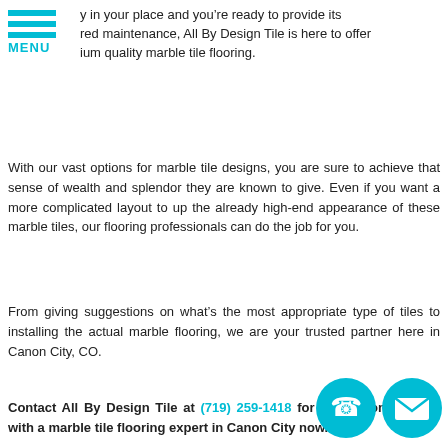[Figure (other): Hamburger menu icon with three cyan horizontal bars and MENU label in cyan text]
y in your place and you're ready to provide its red maintenance, All By Design Tile is here to offer ium quality marble tile flooring.
With our vast options for marble tile designs, you are sure to achieve that sense of wealth and splendor they are known to give. Even if you want a more complicated layout to up the already high-end appearance of these marble tiles, our flooring professionals can do the job for you.
From giving suggestions on what's the most appropriate type of tiles to installing the actual marble flooring, we are your trusted partner here in Canon City, CO.
Contact All By Design Tile at (719) 259-1418 for a free consultation with a marble tile flooring expert in Canon City now.
Overview
Whether for commercial or residential u... a very popular flooring material. It is a natural stone that is
[Figure (other): Two circular contact icons — a phone icon and an email/envelope icon — in teal/cyan color]